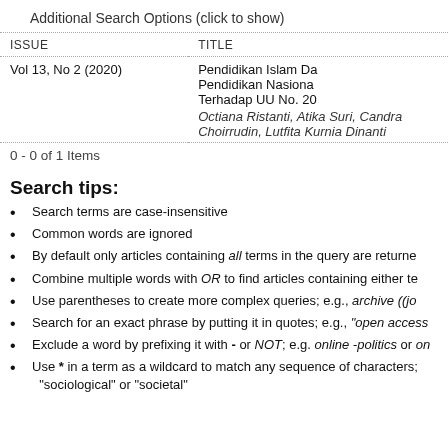Additional Search Options (click to show)
| ISSUE | TITLE |
| --- | --- |
| Vol 13, No 2 (2020) | Pendidikan Islam Da
Pendidikan Nasiona
Terhadap UU No. 20 |
|  | Octiana Ristanti, Atika Suri, Candra Choirrudin, Lutfita Kurnia Dinanti |
0 - 0 of 1 Items
Search tips:
Search terms are case-insensitive
Common words are ignored
By default only articles containing all terms in the query are returne
Combine multiple words with OR to find articles containing either te
Use parentheses to create more complex queries; e.g., archive ((jo
Search for an exact phrase by putting it in quotes; e.g., "open access
Exclude a word by prefixing it with - or NOT; e.g. online -politics or on
Use * in a term as a wildcard to match any sequence of characters; "sociological" or "societal"